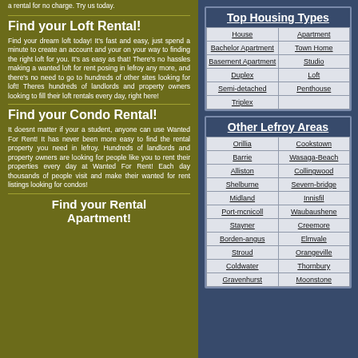a rental for no charge. Try us today.
Find your Loft Rental!
Find your dream loft today! It's fast and easy, just spend a minute to create an account and your on your way to finding the right loft for you. It's as easy as that! There's no hassles making a wanted loft for rent posing in lefroy any more, and there's no need to go to hundreds of other sites looking for loft! Theres hundreds of landlords and property owners looking to fill their loft rentals every day, right here!
Find your Condo Rental!
It doesnt matter if your a student, anyone can use Wanted For Rent! It has never been more easy to find the rental property you need in lefroy. Hundreds of landlords and property owners are looking for people like you to rent their properties every day at Wanted For Rent! Each day thousands of people visit and make their wanted for rent listings looking for condos!
Find your Rental Apartment!
| Top Housing Types |  |
| --- | --- |
| House | Apartment |
| Bachelor Apartment | Town Home |
| Basement Apartment | Studio |
| Duplex | Loft |
| Semi-detached | Penthouse |
| Triplex |  |
| Other Lefroy Areas |  |
| --- | --- |
| Orillia | Cookstown |
| Barrie | Wasaga-Beach |
| Alliston | Collingwood |
| Shelburne | Severn-bridge |
| Midland | Innisfil |
| Port-mcnicoll | Waubaushene |
| Stayner | Creemore |
| Borden-angus | Elmvale |
| Stroud | Orangeville |
| Coldwater | Thornbury |
| Gravenhurst | Moonstone |